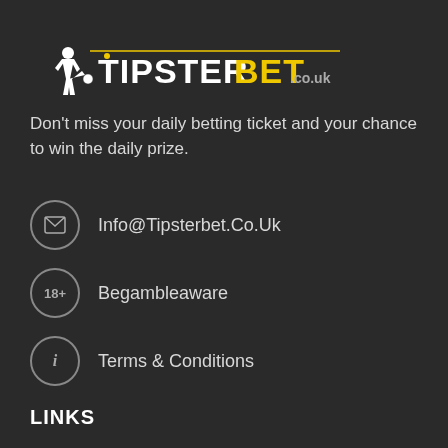[Figure (logo): TipsterBet.co.uk logo with football player silhouette, white and yellow text on dark background]
Don't miss your daily betting ticket and your chance to win the daily prize.
Info@Tipsterbet.Co.Uk
Begambleaware
Terms & Conditions
LINKS
Home